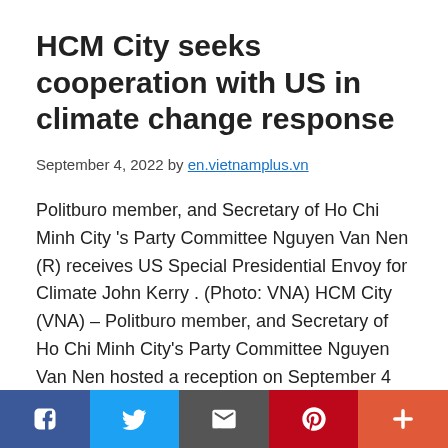HCM City seeks cooperation with US in climate change response
September 4, 2022 by en.vietnamplus.vn
Politburo member, and Secretary of Ho Chi Minh City 's Party Committee Nguyen Van Nen (R) receives US Special Presidential Envoy for Climate John Kerry . (Photo: VNA) HCM City (VNA) – Politburo member, and Secretary of Ho Chi Minh City's Party Committee Nguyen Van Nen hosted a reception on September 4 for US Special
[Figure (infographic): Social media sharing bar with Facebook, Twitter, Email, Pinterest, and More buttons]